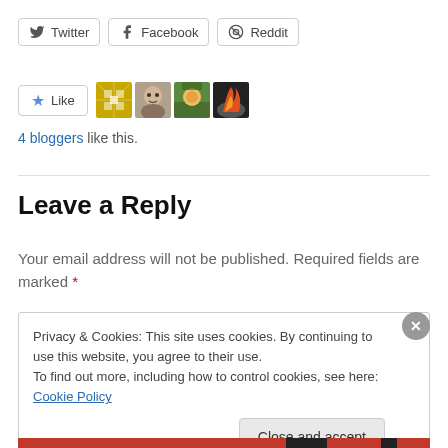[Figure (other): Social share buttons: Twitter, Facebook, Reddit]
[Figure (other): Like button with star icon and 4 blogger avatars]
4 bloggers like this.
Leave a Reply
Your email address will not be published. Required fields are marked *
Privacy & Cookies: This site uses cookies. By continuing to use this website, you agree to their use.
To find out more, including how to control cookies, see here: Cookie Policy
Close and accept